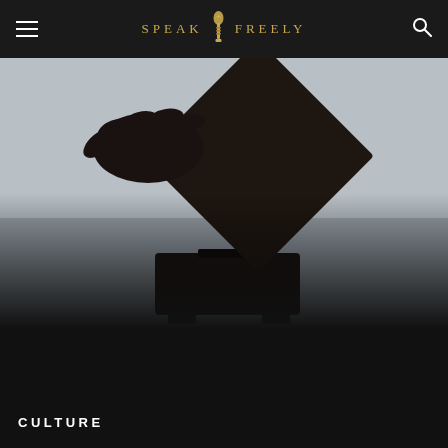SPEAK FREELY
[Figure (photo): Silhouette of a hand inserting a ballot or envelope into a ballot box, dark dramatic lighting against a grey background]
CULTURE